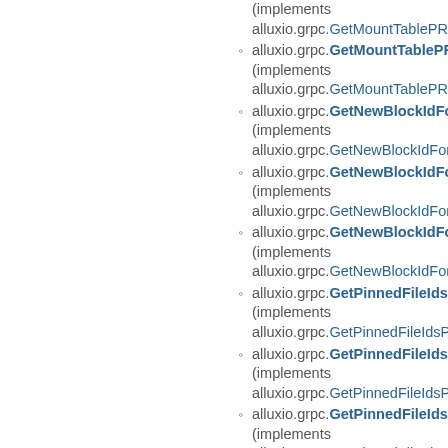alluxio.grpc.GetMountTablePReq (implements alluxio.grpc.GetMountTablePReq)
alluxio.grpc.GetMountTablePR (implements alluxio.grpc.GetMountTablePResp)
alluxio.grpc.GetNewBlockIdFor (implements alluxio.grpc.GetNewBlockIdForFil)
alluxio.grpc.GetNewBlockIdFor (implements alluxio.grpc.GetNewBlockIdForFil)
alluxio.grpc.GetNewBlockIdFor (implements alluxio.grpc.GetNewBlockIdForFil)
alluxio.grpc.GetPinnedFileIdsP (implements alluxio.grpc.GetPinnedFileIdsPOp)
alluxio.grpc.GetPinnedFileIdsP (implements alluxio.grpc.GetPinnedFileIdsPRe)
alluxio.grpc.GetPinnedFileIdsP (implements alluxio.grpc.GetPinnedFileIdsPRe)
alluxio.grpc.GetQuorumInfoPO (implements alluxio.grpc.GetQuorumInfoPOpt)
alluxio.grpc.GetQuorumInfoPR (implements)